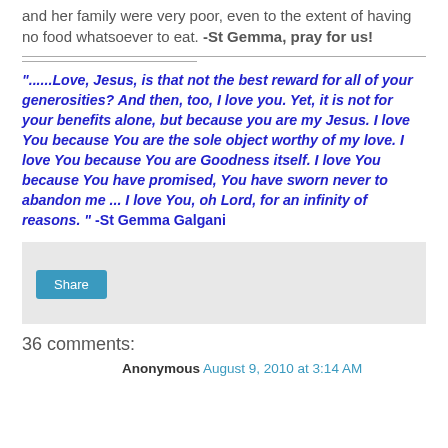and her family were very poor, even to the extent of having no food whatsoever to eat. -St Gemma, pray for us!
"......Love, Jesus, is that not the best reward for all of your generosities? And then, too, I love you. Yet, it is not for your benefits alone, but because you are my Jesus. I love You because You are the sole object worthy of my love. I love You because You are Goodness itself. I love You because You have promised, You have sworn never to abandon me ... I love You, oh Lord, for an infinity of reasons. " -St Gemma Galgani
Share
36 comments:
Anonymous August 9, 2010 at 3:14 AM